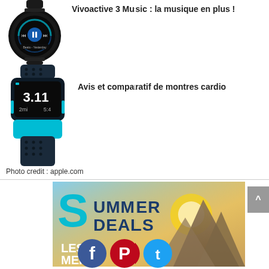[Figure (photo): Garmin Vivoactive 3 Music smartwatch showing music playback screen with blue accent and black band]
Vivoactive 3 Music : la musique en plus !
[Figure (photo): Garmin cardio GPS running watch with teal/turquoise band showing 3.11 on display]
Avis et comparatif de montres cardio
Photo credit : apple.com
[Figure (photo): Summer Deals promotional banner with teal S logo, mountain landscape background, and LES MEILL... text with social media icons (Facebook, Pinterest, Twitter)]